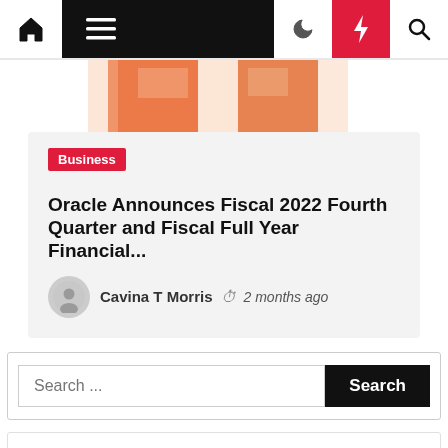Navigation bar with home, menu, moon, bolt, search icons
[Figure (photo): Blurred orange and red hero image blocks at top of article]
Business
Oracle Announces Fiscal 2022 Fourth Quarter and Fiscal Full Year Financial...
Cavina T Morris  2 months ago
Search ...
Search